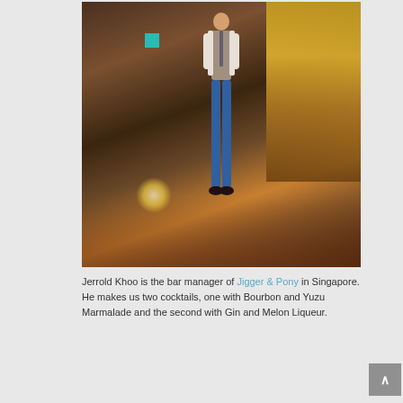[Figure (photo): Jerrold Khoo, bar manager of Jigger & Pony, standing in a warmly lit bar interior in Singapore. He is wearing a grey vest over a white shirt with blue trousers. The bar features warm wooden tones and glowing yellow backlit shelves on the right.]
Jerrold Khoo is the bar manager of Jigger & Pony in Singapore. He makes us two cocktails, one with Bourbon and Yuzu Marmalade and the second with Gin and Melon Liqueur.
More →